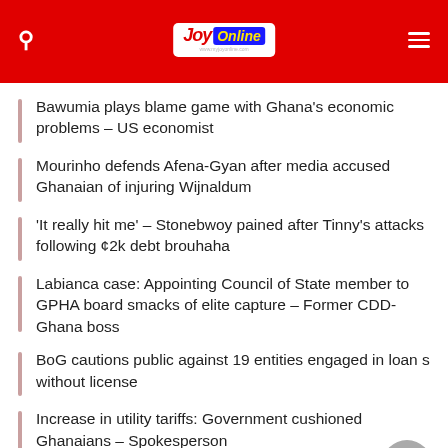Joy Online
Bawumia plays blame game with Ghana's economic problems – US economist
Mourinho defends Afena-Gyan after media accused Ghanaian of injuring Wijnaldum
'It really hit me' – Stonebwoy pained after Tinny's attacks following ¢2k debt brouhaha
Labianca case: Appointing Council of State member to GPHA board smacks of elite capture – Former CDD-Ghana boss
BoG cautions public against 19 entities engaged in loan s without license
Increase in utility tariffs: Government cushioned Ghanaians – Spokesperson